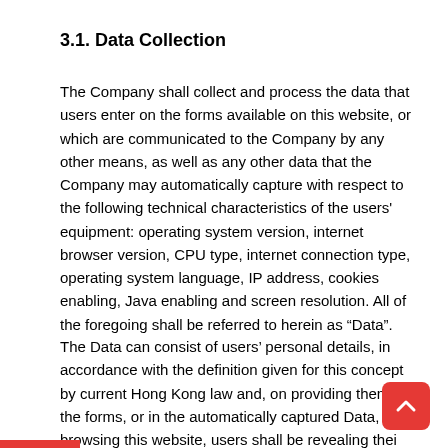3.1. Data Collection
The Company shall collect and process the data that users enter on the forms available on this website, or which are communicated to the Company by any other means, as well as any other data that the Company may automatically capture with respect to the following technical characteristics of the users' equipment: operating system version, internet browser version, CPU type, internet connection type, operating system language, IP address, cookies enabling, Java enabling and screen resolution. All of the foregoing shall be referred to herein as “Data”.
The Data can consist of users’ personal details, in accordance with the definition given for this concept by current Hong Kong law and, on providing them in the forms, or in the automatically captured Data, on browsing this website, users shall be revealing their consent to the collection of some, their entry onto a file